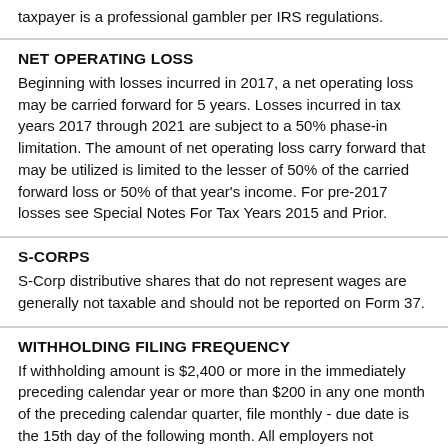taxpayer is a professional gambler per IRS regulations.
NET OPERATING LOSS
Beginning with losses incurred in 2017, a net operating loss may be carried forward for 5 years. Losses incurred in tax years 2017 through 2021 are subject to a 50% phase-in limitation. The amount of net operating loss carry forward that may be utilized is limited to the lesser of 50% of the carried forward loss or 50% of that year’s income. For pre-2017 losses see Special Notes For Tax Years 2015 and Prior.
S-CORPS
S-Corp distributive shares that do not represent wages are generally not taxable and should not be reported on Form 37.
WITHHOLDING FILING FREQUENCY
If withholding amount is $2,400 or more in the immediately preceding calendar year or more than $200 in any one month of the preceding calendar quarter, file monthly - due date is the 15th day of the following month. All employers not required to file monthly, file quarterly - due date is the last day of the month following the end of the quarter.